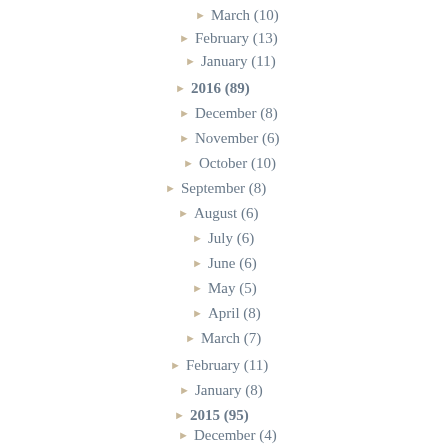► March (10)
► February (13)
► January (11)
► 2016 (89)
► December (8)
► November (6)
► October (10)
► September (8)
► August (6)
► July (6)
► June (6)
► May (5)
► April (8)
► March (7)
► February (11)
► January (8)
► 2015 (95)
► December (4)